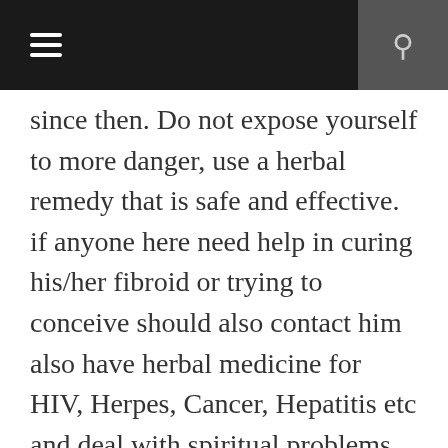Navigation bar with menu and search icons
since then. Do not expose yourself to more danger, use a herbal remedy that is safe and effective. if anyone here need help in curing his/her fibroid or trying to conceive should also contact him also have herbal medicine for HIV, Herpes, Cancer, Hepatitis etc and deal with spiritual problems too once again you can email him via email address drafridherbalhome@gmail.com. or call/whatsApp him on